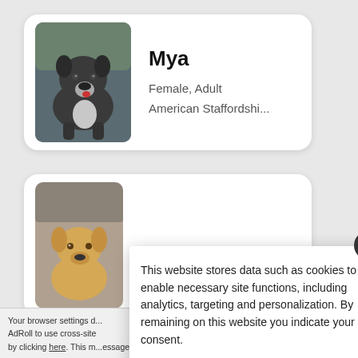[Figure (photo): Card showing a dark gray/blue American Staffordshire Terrier dog named Mya, female adult, with photo on the left and details on right]
Mya
Female, Adult
American Staffordshi...
[Figure (photo): Card showing a light-colored dog, partially obscured by cookie consent overlay]
This website stores data such as cookies to enable necessary site functions, including analytics, targeting and personalization. By remaining on this website you indicate your consent.
Cookie Policy
Your browser settings d... AdRoll to use cross-site by clicking here. This m...essage only appears once.